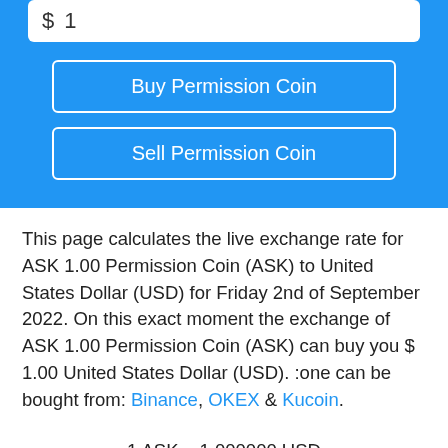[Figure (screenshot): Input field with dollar sign and value 1, blue background section with Buy Permission Coin and Sell Permission Coin buttons]
This page calculates the live exchange rate for ASK 1.00 Permission Coin (ASK) to United States Dollar (USD) for Friday 2nd of September 2022. On this exact moment the exchange of ASK 1.00 Permission Coin (ASK) can buy you $ 1.00 United States Dollar (USD). :one can be bought from: Binance, OKEX & Kucoin.
1 ASK = 1.000000 USD
1 USD = 1.000000 ASK
[Figure (logo): Binance, OKEX, and Kucoin exchange logos]